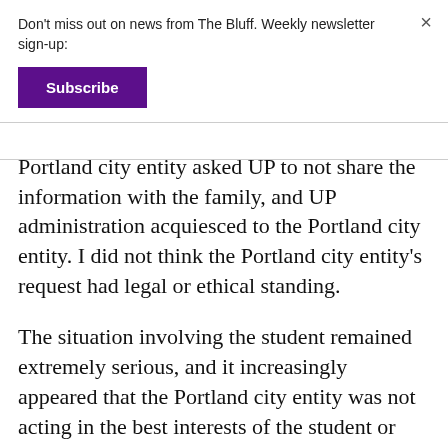Don't miss out on news from The Bluff. Weekly newsletter sign-up:
Subscribe
Portland city entity asked UP to not share the information with the family, and UP administration acquiesced to the Portland city entity. I did not think the Portland city entity's request had legal or ethical standing.
The situation involving the student remained extremely serious, and it increasingly appeared that the Portland city entity was not acting in the best interests of the student or family. So, I told UP's leadership that I would share the